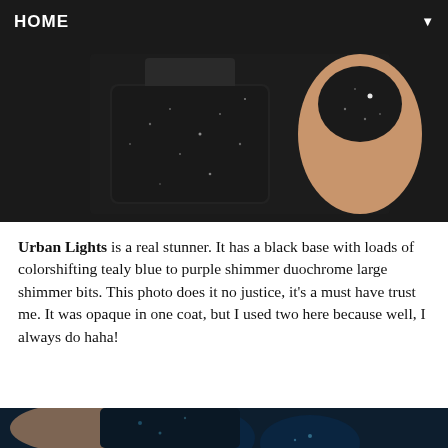HOME ▼
[Figure (photo): Close-up photo of a dark nail polish bottle with black glittery sparkle finish next to a finger with the same polish applied on the nail, showing a dark black shimmer effect.]
Urban Lights is a real stunner. It has a black base with loads of colorshifting tealy blue to purple shimmer duochrome large shimmer bits. This photo does it no justice, it's a must have trust me. It was opaque in one coat, but I used two here because well, I always do haha!
[Figure (photo): Close-up photo of a hand with dark teal/navy blue shimmer nail polish applied on multiple nails, next to a nail polish bottle with the same color showing blue-green metallic duochrome shimmer. The bottle has a brand logo on it.]